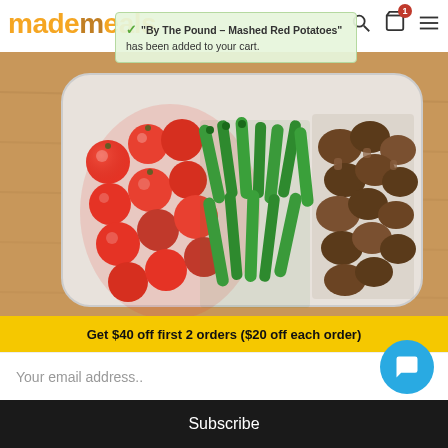mademeals
"By The Pound – Mashed Red Potatoes" has been added to your cart.
[Figure (photo): A white rectangular meal prep container with roasted grape tomatoes, green beans, and roasted mushrooms, on a wooden surface.]
By The Pound – Roasted Mushrooms, Grape Tomatoes &
Get $40 off first 2 orders ($20 off each order)
Your email address..
Subscribe